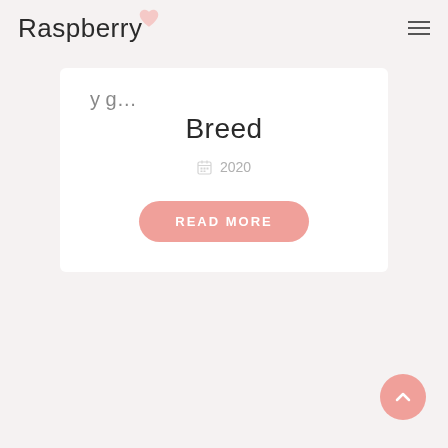Raspberry
Breed
2020
READ MORE